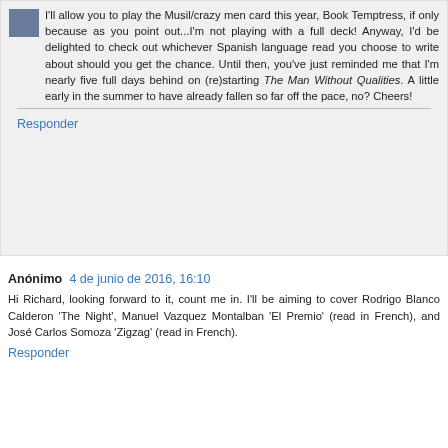I'll allow you to play the Musil/crazy men card this year, Book Temptress, if only because as you point out...I'm not playing with a full deck! Anyway, I'd be delighted to check out whichever Spanish language read you choose to write about should you get the chance. Until then, you've just reminded me that I'm nearly five full days behind on (re)starting The Man Without Qualities. A little early in the summer to have already fallen so far off the pace, no? Cheers!
Responder
Anónimo 4 de junio de 2016, 16:10
Hi Richard, looking forward to it, count me in. I'll be aiming to cover Rodrigo Blanco Calderon 'The Night', Manuel Vazquez Montalban 'El Premio' (read in French), and José Carlos Somoza 'Zigzag' (read in French).
Responder